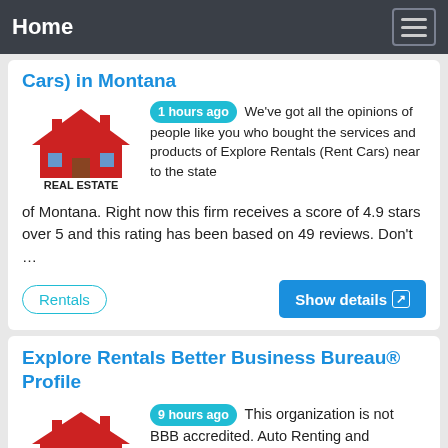Home
Cars) in Montana
1 hours ago We've got all the opinions of people like you who bought the services and products of Explore Rentals (Rent Cars) near to the state of Montana. Right now this firm receives a score of 4.9 stars over 5 and this rating has been based on 49 reviews. Don't …
Rentals
Show details
Explore Rentals Better Business Bureau® Profile
9 hours ago This organization is not BBB accredited. Auto Renting and